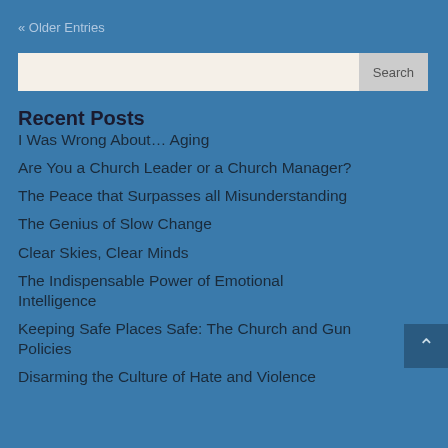« Older Entries
Recent Posts
I Was Wrong About… Aging
Are You a Church Leader or a Church Manager?
The Peace that Surpasses all Misunderstanding
The Genius of Slow Change
Clear Skies, Clear Minds
The Indispensable Power of Emotional Intelligence
Keeping Safe Places Safe: The Church and Gun Policies
Disarming the Culture of Hate and Violence